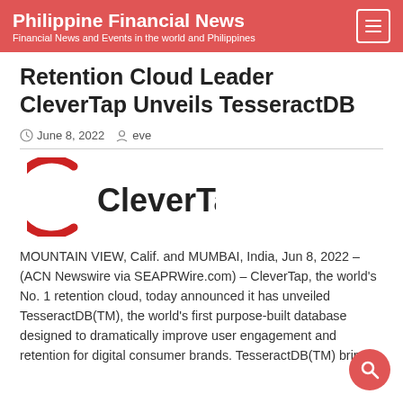Philippine Financial News
Financial News and Events in the world and Philippines
Retention Cloud Leader CleverTap Unveils TesseractDB
June 8, 2022  eve
[Figure (logo): CleverTap logo — red arc on left, bold text CleverTap on right]
MOUNTAIN VIEW, Calif. and MUMBAI, India, Jun 8, 2022 – (ACN Newswire via SEAPRWire.com) – CleverTap, the world's No. 1 retention cloud, today announced it has unveiled TesseractDB(TM), the world's first purpose-built database designed to dramatically improve user engagement and retention for digital consumer brands. TesseractDB(TM) bring